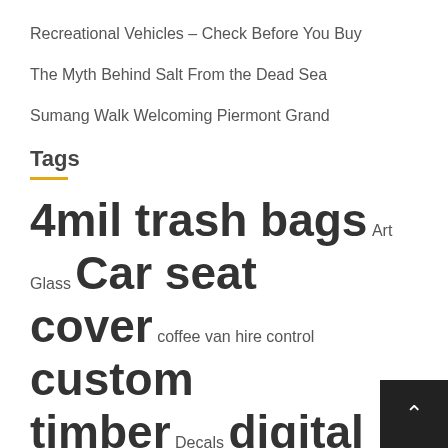Recreational Vehicles – Check Before You Buy
The Myth Behind Salt From the Dead Sea
Sumang Walk Welcoming Piermont Grand
Tags
4mil trash bags Art Glass Car seat cover coffee van hire control custom timber Decals digital marketing agency effective pest effective pest control in Brisbane financial